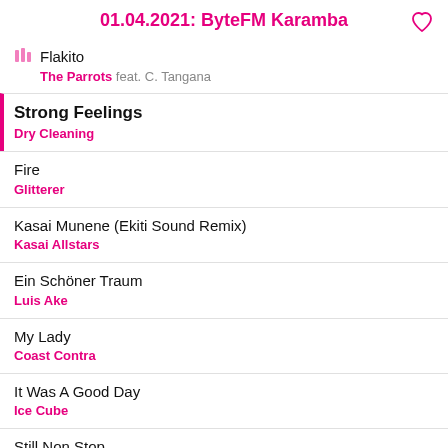01.04.2021: ByteFM Karamba
Flakito
The Parrots feat. C. Tangana
Strong Feelings
Dry Cleaning
Fire
Glitterer
Kasai Munene (Ekiti Sound Remix)
Kasai Allstars
Ein Schöner Traum
Luis Ake
My Lady
Coast Contra
It Was A Good Day
Ice Cube
Still Non Stop